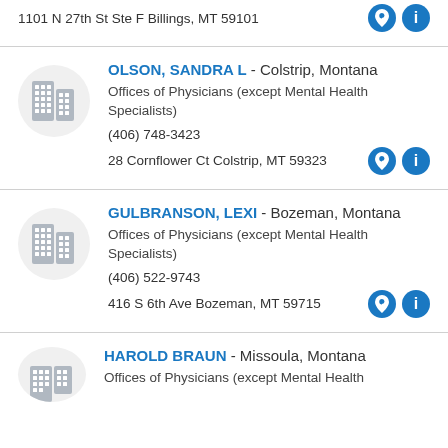1101 N 27th St Ste F Billings, MT 59101
OLSON, SANDRA L - Colstrip, Montana
Offices of Physicians (except Mental Health Specialists)
(406) 748-3423
28 Cornflower Ct Colstrip, MT 59323
GULBRANSON, LEXI - Bozeman, Montana
Offices of Physicians (except Mental Health Specialists)
(406) 522-9743
416 S 6th Ave Bozeman, MT 59715
HAROLD BRAUN - Missoula, Montana
Offices of Physicians (except Mental Health